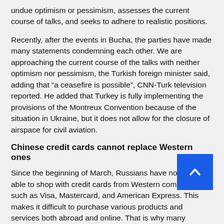undue optimism or pessimism, assesses the current course of talks, and seeks to adhere to realistic positions.
Recently, after the events in Bucha, the parties have made many statements condemning each other. We are approaching the current course of the talks with neither optimism nor pessimism, the Turkish foreign minister said, adding that "a ceasefire is possible", CNN-Turk television reported. He added that Turkey is fully implementing the provisions of the Montreux Convention because of the situation in Ukraine, but it does not allow for the closure of airspace for civil aviation.
Chinese credit cards cannot replace Western ones
Since the beginning of March, Russians have not been able to shop with credit cards from Western companies such as Visa, Mastercard, and American Express. This makes it difficult to purchase various products and services both abroad and online. That is why many Russian citizens use the credit cards of the Chinese company UnionPay. China does not condemn Russian aggression in Ukraine and does not join Western economic sanctions.